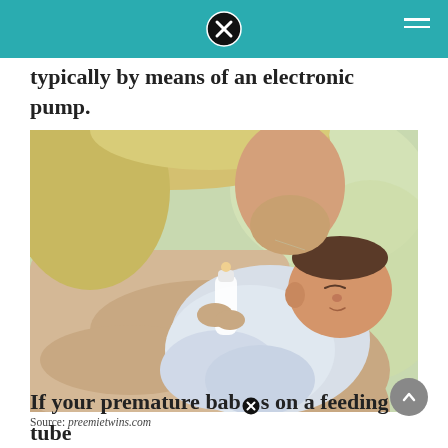typically by means of an electronic pump.
[Figure (photo): A mother bottle-feeding a newborn infant wrapped in a light blue cloth. The mother has blonde hair and is wearing a beige top. Soft natural light in the background.]
Source: preemietwins.com
If your premature baby is on a feeding tube